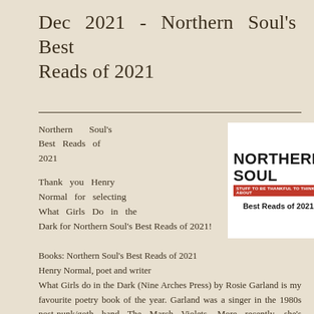Dec 2021 - Northern Soul's Best Reads of 2021
Northern Soul's Best Reads of 2021
Thank you Henry Normal for selecting What Girls Do in the Dark for Northern Soul's Best Reads of 2021!
[Figure (logo): Northern Soul magazine logo with tagline 'Stuff to be Thankful to Think About' and text 'Best Reads of 2021']
[Figure (photo): Stack of colorful books photographed from the side]
Books: Northern Soul's Best Reads of 2021
Henry Normal, poet and writer
What Girls do in the Dark (Nine Arches Press) by Rosie Garland is my favourite poetry book of the year. Garland was a singer in the 1980s post-punk/goth band The March Violets. More recently, she's established herself as a poet and novelist with several titles. I had the honour to read with her in Birmingham a while back, so when her new collection was released I was already interested. From the